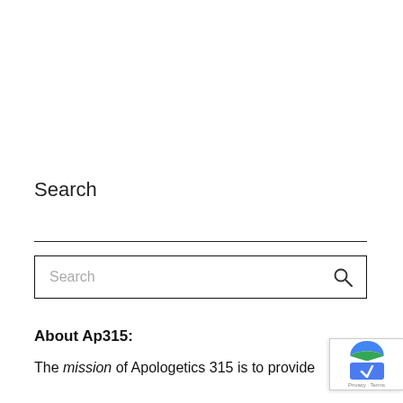Search
[Figure (other): Search input box with a magnifying glass icon on the right]
About Ap315:
The mission of Apologetics 315 is to provide